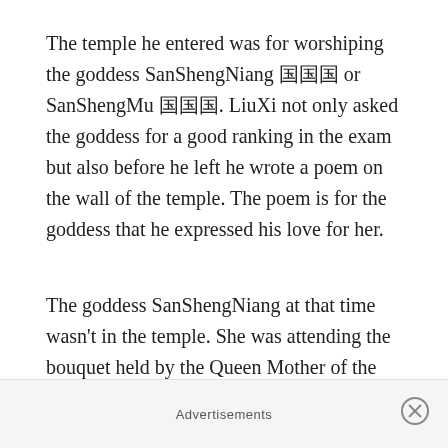The temple he entered was for worshiping the goddess SanShengNiang 三聖娘 or SanShengMu 三聖母. LiuXi not only asked the goddess for a good ranking in the exam but also before he left he wrote a poem on the wall of the temple. The poem is for the goddess that he expressed his love for her.
The goddess SanShengNiang at that time wasn't in the temple. She was attending the bouquet held by the Queen Mother of the West 西王母, we talked before in our episode 74. However, she was informed by other gods in the temple and got ashamed and raged. I think the reason can be: first she was a
Advertisements